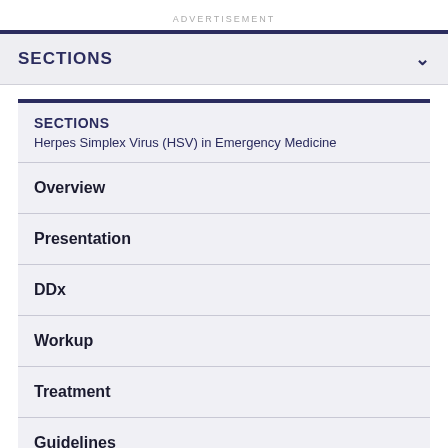ADVERTISEMENT
SECTIONS
SECTIONS
Herpes Simplex Virus (HSV) in Emergency Medicine
Overview
Presentation
DDx
Workup
Treatment
Guidelines